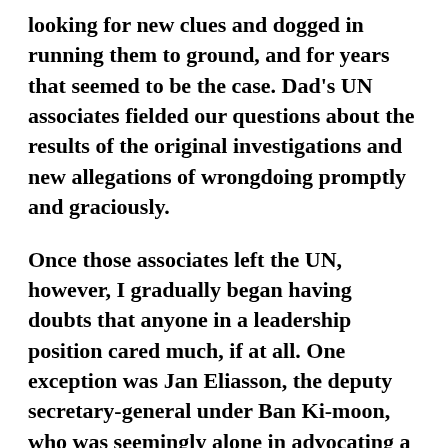looking for new clues and dogged in running them to ground, and for years that seemed to be the case. Dad's UN associates fielded our questions about the results of the original investigations and new allegations of wrongdoing promptly and graciously.
Once those associates left the UN, however, I gradually began having doubts that anyone in a leadership position cared much, if at all. One exception was Jan Eliasson, the deputy secretary-general under Ban Ki-moon, who was seemingly alone in advocating a serious look at the death of his idol and fellow Swede, Mr. Hammarskjöld.
The UN's public posture toward Mr. Hammarskjöld drips with veneration — naturally. Yet when it comes to actually unraveling the circumstances of his death,